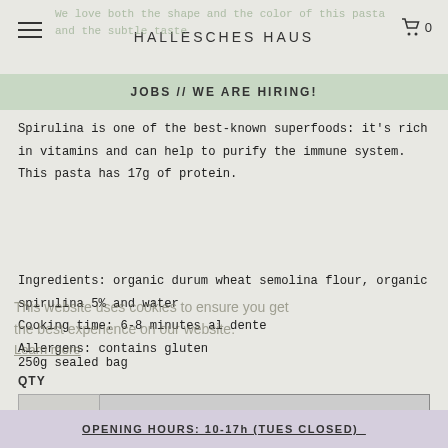HALLESCHES HAUS
We love both the shape and the color of this pasta and the subtle taste
JOBS // WE ARE HIRING!
Spirulina is one of the best-known superfoods: it's rich in vitamins and can help to purify the immune system. This pasta has 17g of protein.
Ingredients: organic durum wheat semolina flour, organic spirulina 5% and water
Cooking time: 6-8 minutes al dente
Allergens: contains gluten
250g sealed bag
QTY
This website uses cookies to ensure you get the best experience on our website.
Learn more
Ok!
OPENING HOURS: 10-17h (TUES CLOSED)_